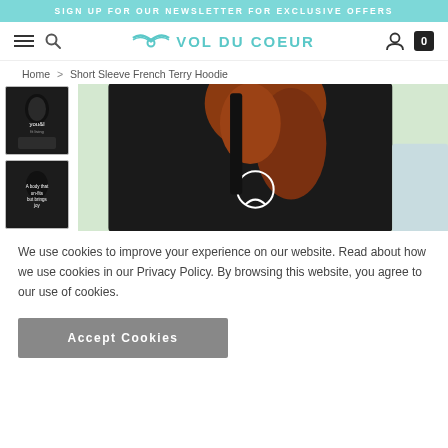SIGN UP FOR OUR NEWSLETTER FOR EXCLUSIVE OFFERS
[Figure (screenshot): Vol du Coeur navigation bar with hamburger menu, search icon, teal logo with wings, user icon, and cart with 0 items]
Home > Short Sleeve French Terry Hoodie
[Figure (photo): Product photos: two thumbnails of a person wearing a black short sleeve hoodie, and a main large photo showing the back of the hoodie on a person with curly red hair outdoors]
We use cookies to improve your experience on our website. Read about how we use cookies in our Privacy Policy. By browsing this website, you agree to our use of cookies.
Accept Cookies